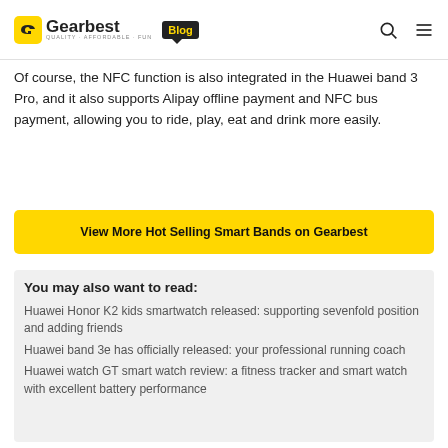Gearbest Blog
Of course, the NFC function is also integrated in the Huawei band 3 Pro, and it also supports Alipay offline payment and NFC bus payment, allowing you to ride, play, eat and drink more easily.
View More Hot Selling Smart Bands on Gearbest
You may also want to read:
Huawei Honor K2 kids smartwatch released: supporting sevenfold position and adding friends
Huawei band 3e has officially released: your professional running coach
Huawei watch GT smart watch review: a fitness tracker and smart watch with excellent battery performance